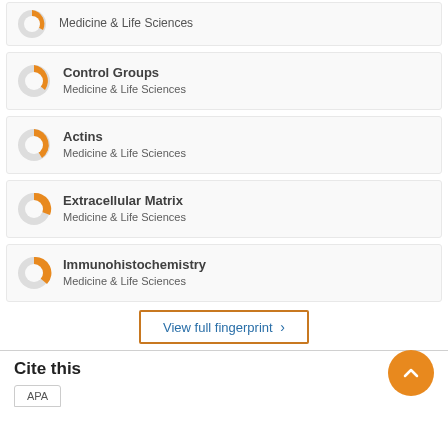Medicine & Life Sciences (partial top item)
Control Groups — Medicine & Life Sciences
Actins — Medicine & Life Sciences
Extracellular Matrix — Medicine & Life Sciences
Immunohistochemistry — Medicine & Life Sciences
View full fingerprint ›
Cite this